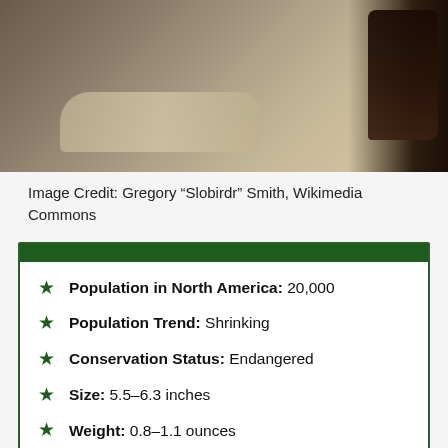[Figure (photo): Close-up photo of a bird perched on a rock, dark tones on right side]
Image Credit: Gregory “Slobirdr” Smith, Wikimedia Commons
Population in North America: 20,000
Population Trend: Shrinking
Conservation Status: Endangered
Size: 5.5–6.3 inches
Weight: 0.8–1.1 ounces
Wingspan: 13 inches